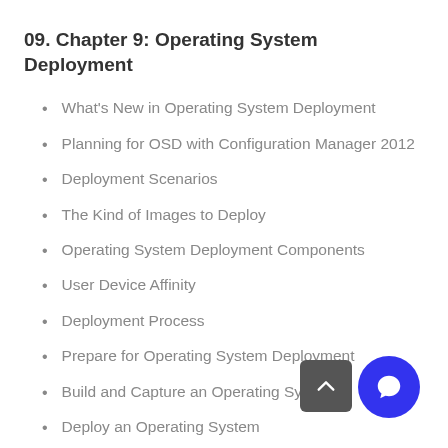09. Chapter 9: Operating System Deployment
What's New in Operating System Deployment
Planning for OSD with Configuration Manager 2012
Deployment Scenarios
The Kind of Images to Deploy
Operating System Deployment Components
User Device Affinity
Deployment Process
Prepare for Operating System Deployment
Build and Capture an Operating System
Deploy an Operating System
Preparing Configuration Manager 2012 for